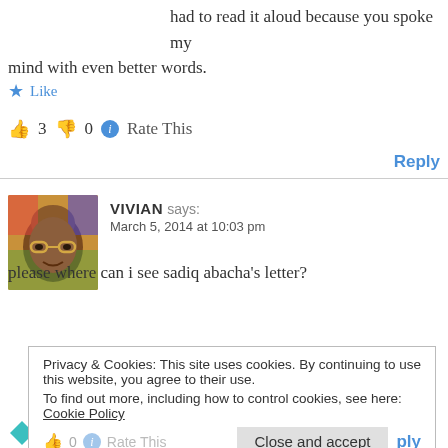had to read it aloud because you spoke my mind with even better words.
★ Like
👍 3 👎 0 ℹ Rate This
Reply
VIVIAN says: March 5, 2014 at 10:03 pm
[Figure (photo): Avatar photo of commenter Vivian]
please where can i see sadiq abacha's letter?
Privacy & Cookies: This site uses cookies. By continuing to use this website, you agree to their use. To find out more, including how to control cookies, see here: Cookie Policy
Close and accept
ABDUL KUKU says: